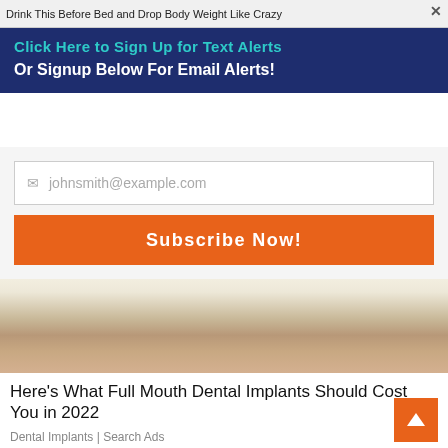Drink This Before Bed and Drop Body Weight Like Crazy
Click Here to Sign Up for Text Alerts
Or Signup Below For Email Alerts!
[Figure (screenshot): Email signup form with placeholder 'johnsmith@example.com' and orange 'Subscribe Now!' button on light grey background]
[Figure (photo): Close-up photo of a human mouth showing teeth, split between discolored teeth on left and white/clean teeth on right — dental implants before/after comparison]
Here's What Full Mouth Dental Implants Should Cost You in 2022
Dental Implants | Search Ads